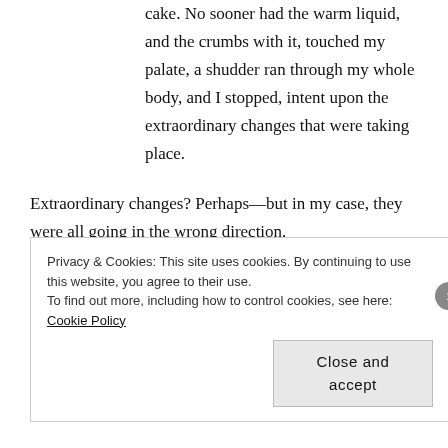cake. No sooner had the warm liquid, and the crumbs with it, touched my palate, a shudder ran through my whole body, and I stopped, intent upon the extraordinary changes that were taking place.
Extraordinary changes? Perhaps—but in my case, they were all going in the wrong direction.
#
I started reading Proust in college, when a professor everyone hated or feared (or both) assigned Swann's Way in a class called
Privacy & Cookies: This site uses cookies. By continuing to use this website, you agree to their use. To find out more, including how to control cookies, see here: Cookie Policy
Close and accept